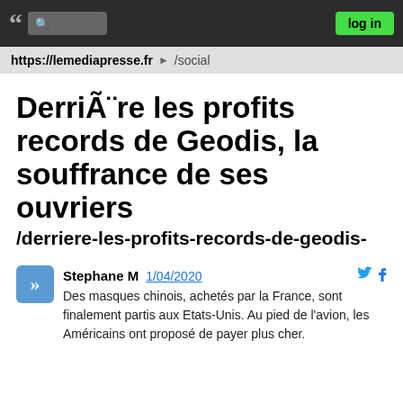https://lemediapresse.fr /social | log in
Derrière les profits records de Geodis, la souffrance de ses ouvriers /derriere-les-profits-records-de-geodis-
Stephane M  1/04/2020  Des masques chinois, achetés par la France, sont finalement partis aux Etats-Unis. Au pied de l'avion, les Américains ont proposé de payer plus cher.